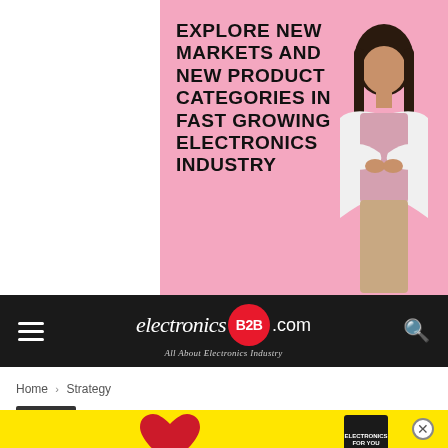[Figure (illustration): Pink background advertisement banner with bold black text 'EXPLORE NEW MARKETS AND NEW PRODUCT CATEGORIES IN FAST GROWING ELECTRONICS INDUSTRY' on the left, and a woman in a white blazer with arms crossed on the right.]
[Figure (logo): electronics B2B .com logo in dark navigation bar. 'electronics' in white italic serif, B2B in white on red circle, '.com' in white sans-serif, tagline 'All About Electronics Industry' in italic below.]
Home › Strategy
Strategy
Building An IoT Startup For Sel...
[Figure (illustration): Yellow advertisement overlay at bottom with a red heart graphic and a small book/magazine cover with 'Electronics Express' text. Close button (X in circle) visible at top right of ad.]